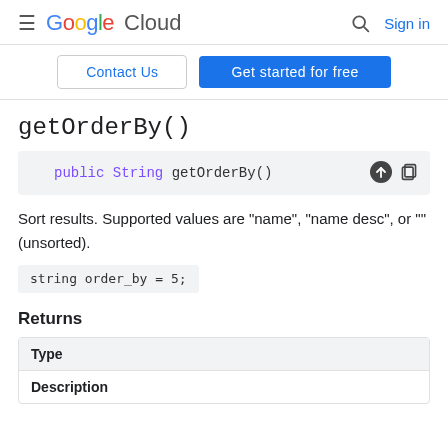Google Cloud — Sign in
Contact Us | Get started for free
getOrderBy()
public String getOrderBy()
Sort results. Supported values are "name", "name desc", or "" (unsorted).
string order_by = 5;
Returns
| Type |
| --- |
| Description |